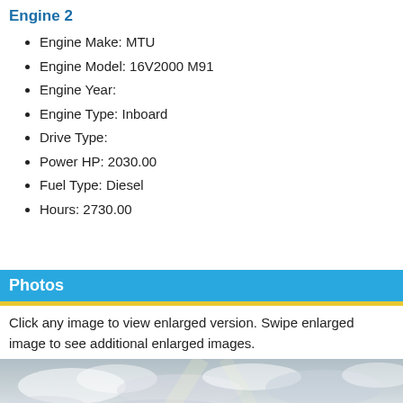Engine 2
Engine Make: MTU
Engine Model: 16V2000 M91
Engine Year:
Engine Type: Inboard
Drive Type:
Power HP: 2030.00
Fuel Type: Diesel
Hours: 2730.00
Photos
Click any image to view enlarged version. Swipe enlarged image to see additional enlarged images.
[Figure (photo): Sky with clouds, appears to be taken from a boat/vessel looking upward]